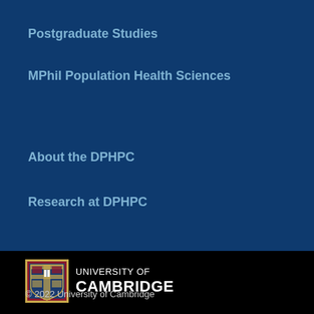Postgraduate Studies
MPhil Population Health Sciences
About the DPHPC
Research at DPHPC
[Figure (logo): University of Cambridge shield logo with coat of arms in gold, red and blue]
UNIVERSITY OF CAMBRIDGE
© 2022 University of Cambridge